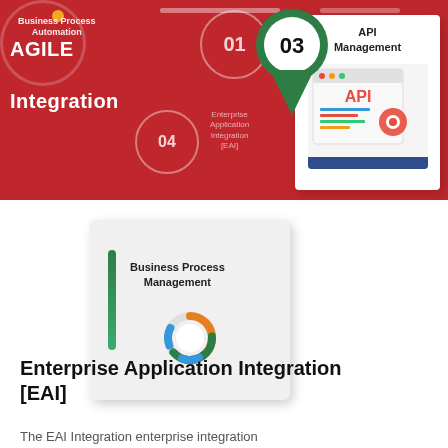[Figure (infographic): Agile Integration header with red background showing circular numbered steps (01, 02, 03, 04) connected in a diagram representing Business Process Automation, Enterprise Application Integration [EAI], API Management, and Business Process Management. Includes Agile Integration logo in top-left and hamburger menu in top-right. Two cards are visible: card 03 for Business Process Management and card 02 for API Management.]
Enterprise Application Integration [EAI]
The EAI Integration enterprise integration